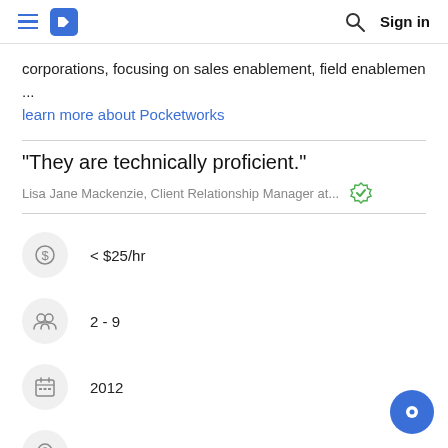Sign in
corporations, focusing on sales enablement, field enablemen ...
learn more about Pocketworks
"They are technically proficient."
Lisa Jane Mackenzie, Client Relationship Manager at...
< $25/hr
2 - 9
2012
Leeds, West Yorkshire